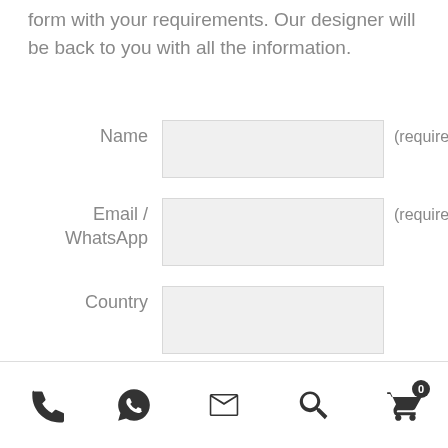form with your requirements. Our designer will be back to you with all the information.
Name (required)
Email / WhatsApp (required)
Country
Inquiy
Phone, WhatsApp, Email, Search, Cart (0)